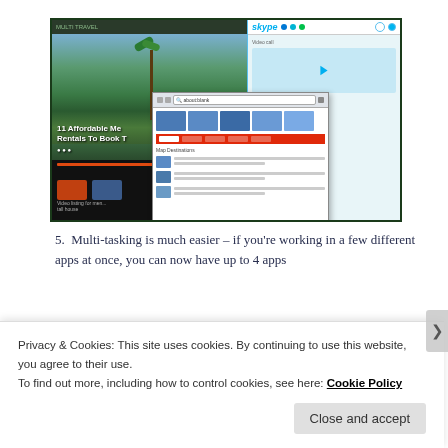[Figure (screenshot): A composite screenshot showing a travel website (Multi Travel) with mountain/tropical scenery and text '11 Affordable Men... Rentals To Book T...' overlaid on a dark bottom panel, alongside a Skype application window, and a floating browser popup window showing image thumbnails and a list of results.]
5. Multi-tasking is much easier – if you're working in a few different apps at once, you can now have up to 4 apps
Privacy & Cookies: This site uses cookies. By continuing to use this website, you agree to their use.
To find out more, including how to control cookies, see here: Cookie Policy